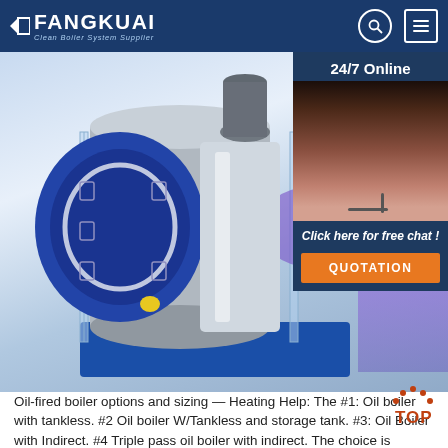FANGKUAI — Clean Boiler System Supplier
[Figure (photo): Industrial oil-fired boiler with blue metal frame and stainless steel cylindrical body, purple flame visible on the right side, 3D rendered product photo.]
[Figure (photo): Customer service representative with headset, smiling, with '24/7 Online' text above and 'Click here for free chat!' below, and QUOTATION button.]
Oil-fired boiler options and sizing — Heating Help: The #1: Oil boiler with tankless. #2 Oil boiler W/Tankless and storage tank. #3: Oil Boiler with Indirect. #4 Triple pass oil boiler with indirect. The choice is always between #1 and #2. Depending on